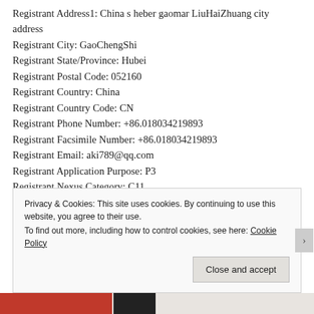Registrant Address1: China s heber gaomar LiuHaiZhuang city address
Registrant City: GaoChengShi
Registrant State/Province: Hubei
Registrant Postal Code: 052160
Registrant Country: China
Registrant Country Code: CN
Registrant Phone Number: +86.018034219893
Registrant Facsimile Number: +86.018034219893
Registrant Email: aki789@qq.com
Registrant Application Purpose: P3
Registrant Nexus Category: C11
Administrative Contact ID: DL_13682347
Privacy & Cookies: This site uses cookies. By continuing to use this website, you agree to their use. To find out more, including how to control cookies, see here: Cookie Policy